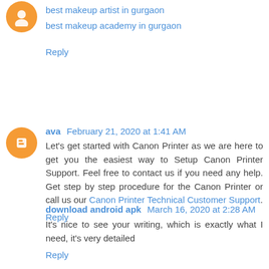best makeup artist in gurgaon
best makeup academy in gurgaon
Reply
ava February 21, 2020 at 1:41 AM
Let's get started with Canon Printer as we are here to get you the easiest way to Setup Canon Printer Support. Feel free to contact us if you need any help. Get step by step procedure for the Canon Printer or call us our Canon Printer Technical Customer Support.
Reply
download android apk March 16, 2020 at 2:28 AM
It's nice to see your writing, which is exactly what I need, it's very detailed
Reply